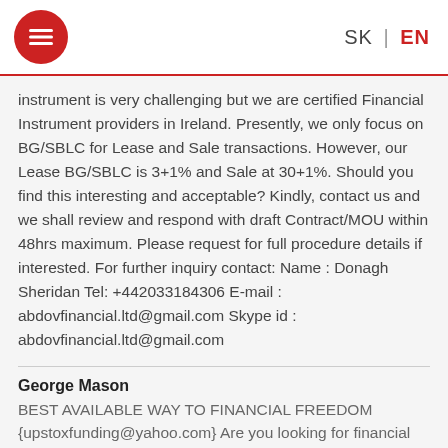[Figure (logo): Red circular hamburger menu icon]
SK | EN
instrument is very challenging but we are certified Financial Instrument providers in Ireland. Presently, we only focus on BG/SBLC for Lease and Sale transactions. However, our Lease BG/SBLC is 3+1% and Sale at 30+1%. Should you find this interesting and acceptable? Kindly, contact us and we shall review and respond with draft Contract/MOU within 48hrs maximum. Please request for full procedure details if interested. For further inquiry contact: Name : Donagh Sheridan Tel: +442033184306 E-mail : abdovfinancial.ltd@gmail.com Skype id : abdovfinancial.ltd@gmail.com
George Mason
BEST AVAILABLE WAY TO FINANCIAL FREEDOM {upstoxfunding@yahoo.com} Are you looking for financial freedom? Are